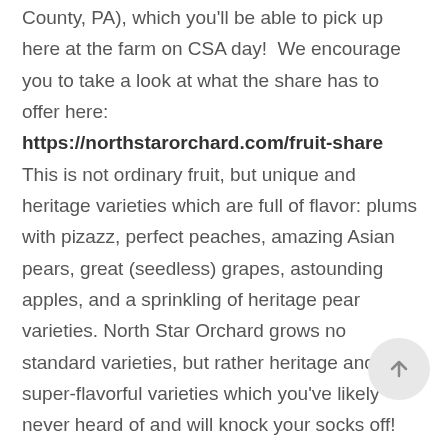County, PA), which you'll be able to pick up here at the farm on CSA day!  We encourage you to take a look at what the share has to offer here: https://northstarorchard.com/fruit-share This is not ordinary fruit, but unique and heritage varieties which are full of flavor: plums with pizazz, perfect peaches, amazing Asian pears, great (seedless) grapes, astounding apples, and a sprinkling of heritage pear varieties. North Star Orchard grows no standard varieties, but rather heritage and super-flavorful varieties which you've likely never heard of and will knock your socks off! Sign up directly with North Star on their website: https://northstarorchard.com/csa-locations-